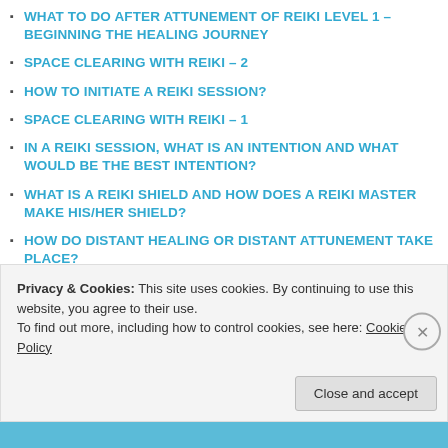WHAT TO DO AFTER ATTUNEMENT OF REIKI LEVEL 1 – BEGINNING THE HEALING JOURNEY
SPACE CLEARING WITH REIKI – 2
HOW TO INITIATE A REIKI SESSION?
SPACE CLEARING WITH REIKI – 1
IN A REIKI SESSION, WHAT IS AN INTENTION AND WHAT WOULD BE THE BEST INTENTION?
WHAT IS A REIKI SHIELD AND HOW DOES A REIKI MASTER MAKE HIS/HER SHIELD?
HOW DO DISTANT HEALING OR DISTANT ATTUNEMENT TAKE PLACE?
WHAT IS AN ATTUNEMENT?
IS REIKI A RELIGION?
Privacy & Cookies: This site uses cookies. By continuing to use this website, you agree to their use.
To find out more, including how to control cookies, see here: Cookie Policy
Close and accept